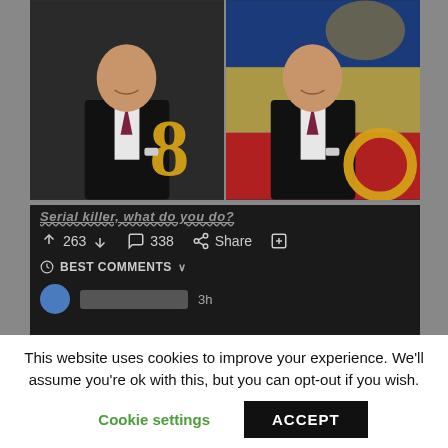[Figure (screenshot): Screenshot of a Reddit post showing two side-by-side photos of a man in a suit holding a large golden number 8 (left) and a circular gold object (right). Below is the Reddit interface showing vote count 263, comment count 338, Share button, and a BEST COMMENTS section with one comment avatar visible, timestamped 3h. Username is blurred.]
This website uses cookies to improve your experience. We'll assume you're ok with this, but you can opt-out if you wish.
Cookie settings   ACCEPT